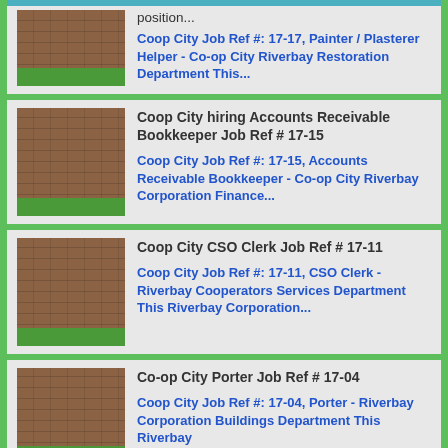[Figure (photo): Thumbnail image of Co-op City brick building with green stripe]
position...
Coop City Job Ref #: 17-17, Painter / Plasterer Helper - Co-op City Riverbay Restoration Department This...
[Figure (photo): Thumbnail image of Co-op City brick building with green stripe]
Coop City hiring Accounts Receivable Bookkeeper Job Ref # 17-15
Coop City Job Ref #: 17-15, Accounts Receivable Bookkeeper - Co-op City Riverbay Corporation Finance...
[Figure (photo): Thumbnail image of Co-op City brick building with green stripe]
Coop City CSO Clerk Job Ref # 17-11
Coop City Job Ref #: 17-11, CSO Clerk - Riverbay Cooperators Services Department This Riverbay Corporation...
[Figure (photo): Thumbnail image of Co-op City brick building with green stripe]
Co-op City Porter Job Ref # 17-04
Coop City Job Ref #: 17-04, Porter - Riverbay Corporation Buildings Department This Riverbay